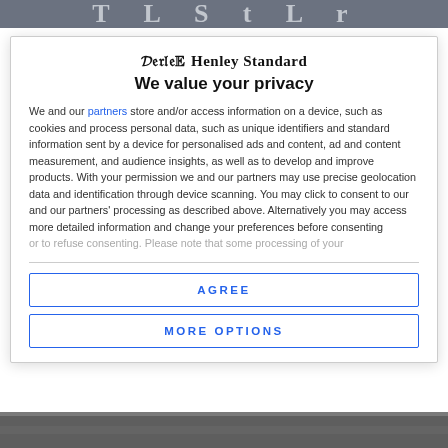The Henley Standard (partial header bar)
Henley Standard
We value your privacy
We and our partners store and/or access information on a device, such as cookies and process personal data, such as unique identifiers and standard information sent by a device for personalised ads and content, ad and content measurement, and audience insights, as well as to develop and improve products. With your permission we and our partners may use precise geolocation data and identification through device scanning. You may click to consent to our and our partners' processing as described above. Alternatively you may access more detailed information and change your preferences before consenting or to refuse consenting. Please note that some processing of your
AGREE
MORE OPTIONS